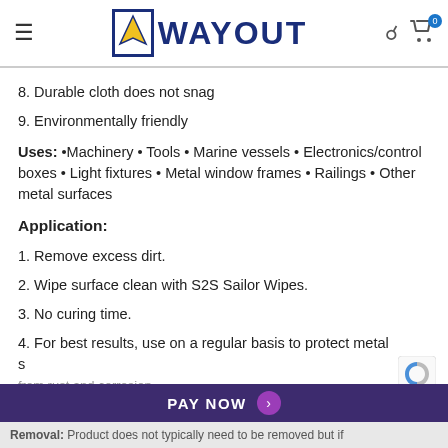WAYOUT navigation header with hamburger menu, logo, search and cart icons
8. Durable cloth does not snag
9. Environmentally friendly
Uses: •Machinery • Tools • Marine vessels • Electronics/control boxes • Light fixtures • Metal window frames • Railings • Other metal surfaces
Application:
1. Remove excess dirt.
2. Wipe surface clean with S2S Sailor Wipes.
3. No curing time.
4. For best results, use on a regular basis to protect metal surfaces from rust and corrosion.
PAY NOW
Removal: Product does not typically need to be removed but if